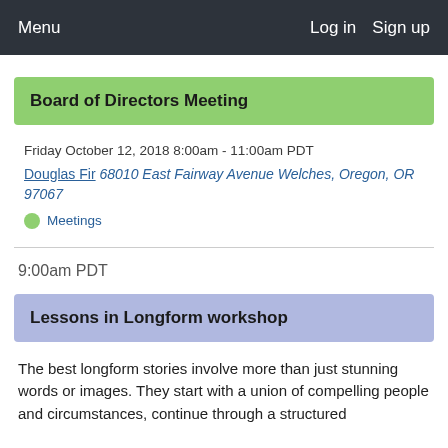Menu   Log in   Sign up
Board of Directors Meeting
Friday October 12, 2018 8:00am - 11:00am PDT
Douglas Fir 68010 East Fairway Avenue Welches, Oregon, OR 97067
Meetings
9:00am PDT
Lessons in Longform workshop
The best longform stories involve more than just stunning words or images. They start with a union of compelling people and circumstances, continue through a structured